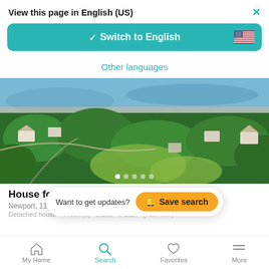View this page in English (US)
Switch to English
Other languages
[Figure (photo): Aerial view of a coastal New England neighborhood with houses, trees, and ocean/harbor visible in the background]
House for ... rt Count...
Newport, 11 Ocean Heights Road, Newport County, Rhode Island
Detached house · 4 room(s) · 5 Bed · 5 Bath · (76.74 m²)
Want to get updates? Save search
My Home  Search  Favorites  More